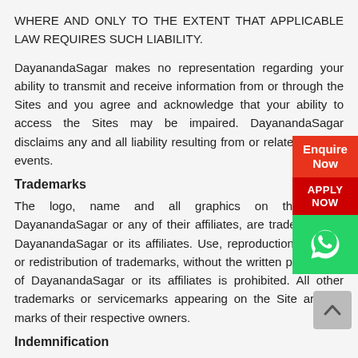WHERE AND ONLY TO THE EXTENT THAT APPLICABLE LAW REQUIRES SUCH LIABILITY.
DayanandaSagar makes no representation regarding your ability to transmit and receive information from or through the Sites and you agree and acknowledge that your ability to access the Sites may be impaired. DayanandaSagar disclaims any and all liability resulting from or related to such events.
Trademarks
The logo, name and all graphics on the Sites, DayanandaSagar or any of their affiliates, are trademarks of DayanandaSagar or its affiliates. Use, reproduction, copying or redistribution of trademarks, without the written permission of DayanandaSagar or its affiliates is prohibited. All other trademarks or servicemarks appearing on the Site are the marks of their respective owners.
Indemnification
You agree to indemnify and hold DayanandaSagar harmless from any claims, losses or damages, including legal fees,